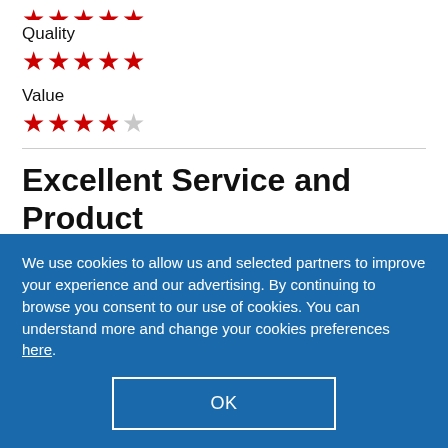★★★★★ (cut off at top)
Quality
[Figure (other): 5 red filled stars rating for Quality]
Value
[Figure (other): 4 red filled stars and 1 grey star rating for Value]
Excellent Service and Product
We use cookies to allow us and selected partners to improve your experience and our advertising. By continuing to browse you consent to our use of cookies. You can understand more and change your cookies preferences here.
OK